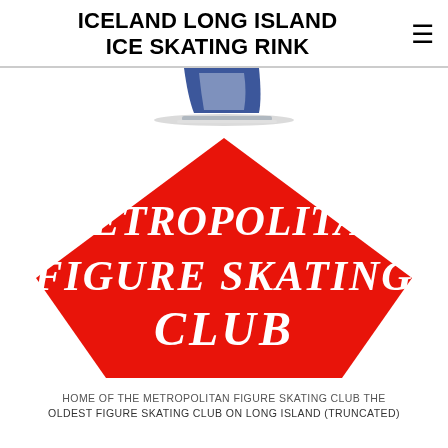ICELAND LONG ISLAND ICE SKATING RINK
[Figure (logo): Partial view of an ice skate logo at top center]
[Figure (logo): Red pentagon-shaped logo with white bold italic text reading METROPOLITAN FIGURE SKATING CLUB]
HOME OF THE METROPOLITAN FIGURE SKATING CLUB THE OLDEST FIGURE SKATING CLUB ON LONG ISLAND (TRUNCATED)